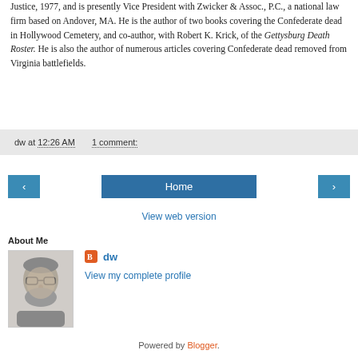Justice, 1977, and is presently Vice President with Zwicker & Assoc., P.C., a national law firm based on Andover, MA. He is the author of two books covering the Confederate dead in Hollywood Cemetery, and co-author, with Robert K. Krick, of the Gettysburg Death Roster. He is also the author of numerous articles covering Confederate dead removed from Virginia battlefields.
dw at 12:26 AM   1 comment:
[Figure (screenshot): Navigation buttons: left arrow, Home, right arrow]
View web version
About Me
[Figure (photo): Black and white profile photo of a man with glasses and beard]
dw
View my complete profile
Powered by Blogger.